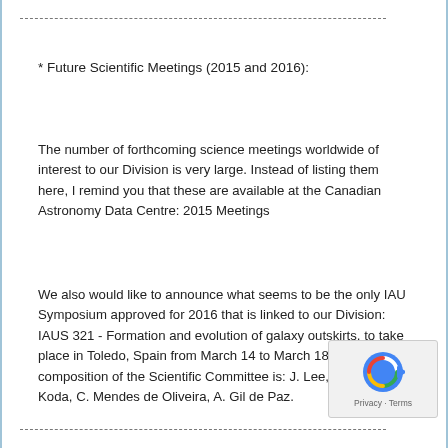* Future Scientific Meetings (2015 and 2016):
The number of forthcoming science meetings worldwide of interest to our Division is very large. Instead of listing them here, I remind you that these are available at the Canadian Astronomy Data Centre: 2015 Meetings
We also would like to announce what seems to be the only IAU Symposium approved for 2016 that is linked to our Division: IAUS 321 - Formation and evolution of galaxy outskirts, to take place in Toledo, Spain from March 14 to March 18, 2016. The composition of the Scientific Committee is: J. Lee, L. Kewley, J. Koda, C. Mendes de Oliveira, A. Gil de Paz.